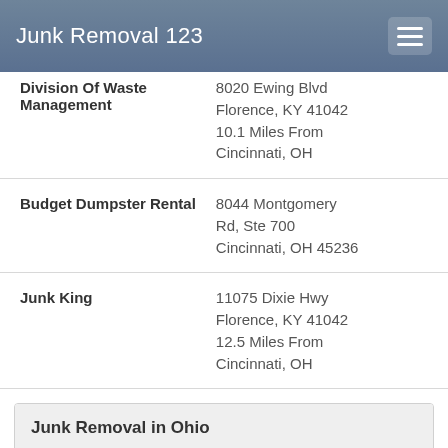Junk Removal 123
Division Of Waste Management — 8020 Ewing Blvd, Florence, KY 41042, 10.1 Miles From Cincinnati, OH
Budget Dumpster Rental — 8044 Montgomery Rd, Ste 700, Cincinnati, OH 45236
Junk King — 11075 Dixie Hwy, Florence, KY 41042, 12.5 Miles From Cincinnati, OH
Junk Removal in Ohio
Akron Junk Removal
Canton Junk Removal